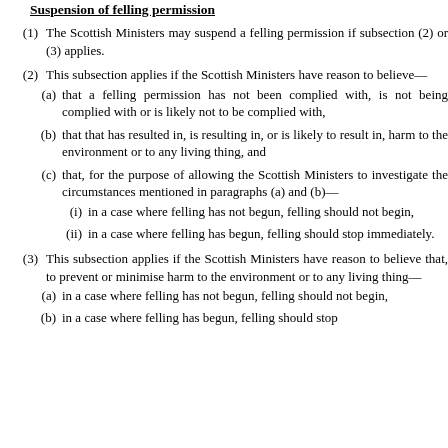Suspension of felling permission
(1) The Scottish Ministers may suspend a felling permission if subsection (2) or (3) applies.
(2) This subsection applies if the Scottish Ministers have reason to believe—
(a) that a felling permission has not been complied with, is not being complied with or is likely not to be complied with,
(b) that that has resulted in, is resulting in, or is likely to result in, harm to the environment or to any living thing, and
(c) that, for the purpose of allowing the Scottish Ministers to investigate the circumstances mentioned in paragraphs (a) and (b)—
(i) in a case where felling has not begun, felling should not begin,
(ii) in a case where felling has begun, felling should stop immediately.
(3) This subsection applies if the Scottish Ministers have reason to believe that, to prevent or minimise harm to the environment or to any living thing—
(a) in a case where felling has not begun, felling should not begin,
(b) in a case where felling has begun, felling should stop